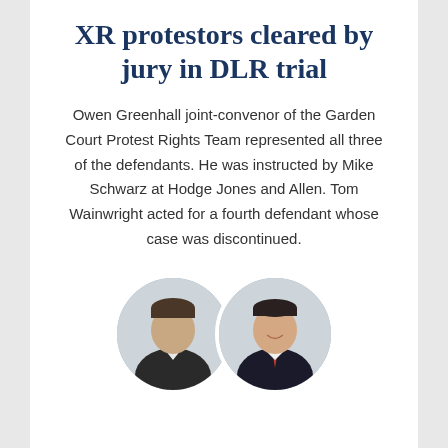XR protestors cleared by jury in DLR trial
Owen Greenhall joint-convenor of the Garden Court Protest Rights Team represented all three of the defendants. He was instructed by Mike Schwarz at Hodge Jones and Allen. Tom Wainwright acted for a fourth defendant whose case was discontinued.
[Figure (photo): Two circular headshot photos of legal professionals side by side]
PROTEST RIGHTS, PROTEST RIGHTS, PROTEST RIGHTS | Wednesday 5 January 2022
Colston statue topplers acquitted